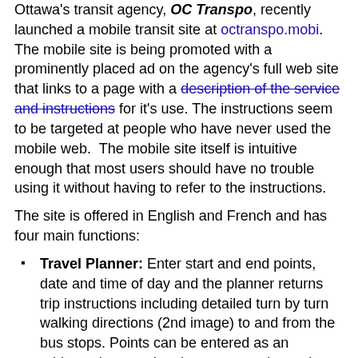Ottawa's transit agency, OC Transpo, recently launched a mobile transit site at octranspo.mobi. The mobile site is being promoted with a prominently placed ad on the agency's full web site that links to a page with a description of the service and instructions for it's use. The instructions seem to be targeted at people who have never used the mobile web. The mobile site itself is intuitive enough that most users should have no trouble using it without having to refer to the instructions.
The site is offered in English and French and has four main functions:
Travel Planner: Enter start and end points, date and time of day and the planner returns trip instructions including detailed turn by turn walking directions (2nd image) to and from the bus stops. Points can be entered as an address, intersection, bus stop number or by choosing a landmark from a list
Route Schedules: Enter route number, chose date and approximate time of day, direction and up to three stops from a list to view a schedule.
Stop Times: Enter bus stop number, chose date and approximate time of day and up to five stops from a list to view all scheduled bus arrivals at that